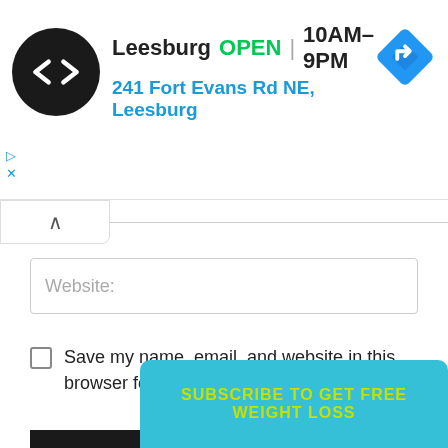[Figure (screenshot): Google Maps ad banner for a store location in Leesburg. Shows a black circular logo with arrow symbols, store name 'Leesburg', green 'OPEN' text, hours '10AM–9PM', address '241 Fort Evans Rd NE, Leesburg' in blue, and a blue diamond navigation icon on the right.]
[Figure (screenshot): Web form UI showing a collapse chevron tab, a Website input field, a checkbox with label 'Save my name, email, and website in this browser for the next time I comment.', and a dark POST COMMENT button.]
Save my name, email, and website in this browser for the next time I comment.
[Figure (screenshot): Cyan/teal subscribe banner at the bottom with yellow-green text 'SUBSCRIBE TO GET FREE WEIGHT LOSS']